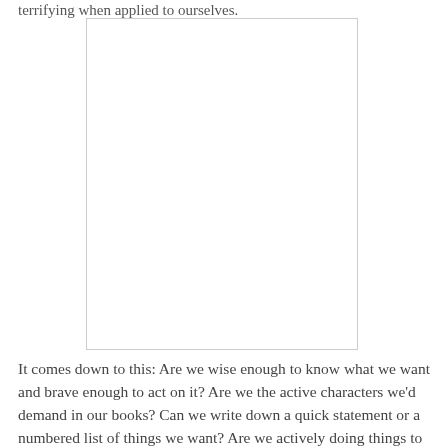terrifying when applied to ourselves.
[Figure (illustration): A blank white rectangular image placeholder with a light border.]
It comes down to this: Are we wise enough to know what we want and brave enough to act on it? Are we the active characters we'd demand in our books? Can we write down a quick statement or a numbered list of things we want? Are we actively doing things to achieve those goals? Or are we